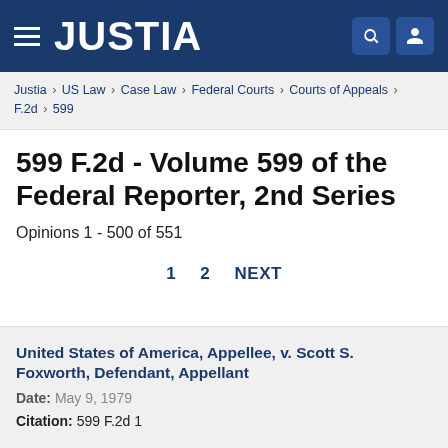JUSTIA
Justia › US Law › Case Law › Federal Courts › Courts of Appeals › F.2d › 599
599 F.2d - Volume 599 of the Federal Reporter, 2nd Series
Opinions 1 - 500 of 551
1  2  NEXT
United States of America, Appellee, v. Scott S. Foxworth, Defendant, Appellant
Date: May 9, 1979
Citation: 599 F.2d 1